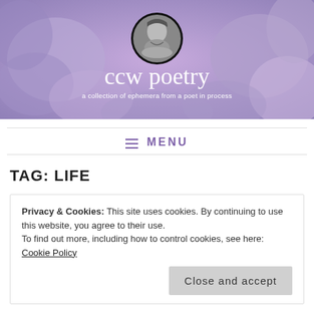[Figure (illustration): Blog header banner with purple succulent plant background, circular black-and-white profile photo of a woman, white script text 'ccw poetry' and subtitle 'a collection of ephemera   from a poet in process']
≡ MENU
TAG: LIFE
Privacy & Cookies: This site uses cookies. By continuing to use this website, you agree to their use.
To find out more, including how to control cookies, see here: Cookie Policy
Close and accept